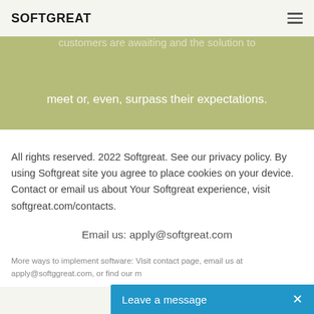SOFTGREAT
meet or, even, surpass their expectations.
All rights reserved. 2022 Softgreat. See our privacy policy. By using Softgreat site you agree to place cookies on your device.
Contact or email us about Your Softgreat experience, visit softgreat.com/contacts.
Email us: apply@softgreat.com
More ways to implement software: Visit contact page, email us at apply@softggreat.com, or find our m
Leave a message  ✕